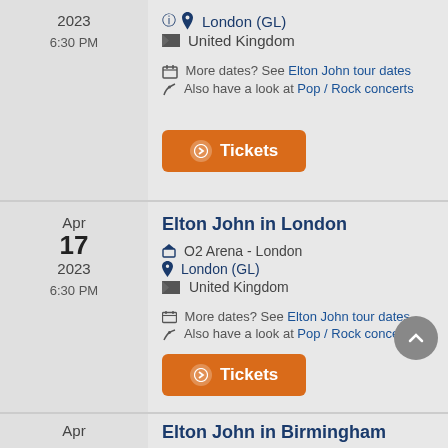2023 6:30 PM
London (GL)
United Kingdom
More dates? See Elton John tour dates
Also have a look at Pop / Rock concerts
Tickets
Elton John in London
O2 Arena - London
London (GL)
United Kingdom
More dates? See Elton John tour dates
Also have a look at Pop / Rock concerts
Tickets
Elton John in Birmingham